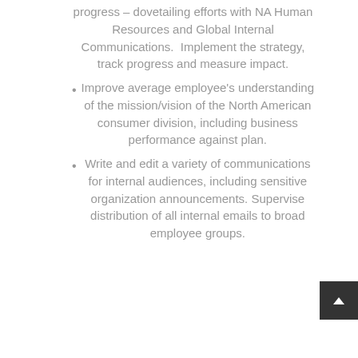progress – dovetailing efforts with NA Human Resources and Global Internal Communications.  Implement the strategy, track progress and measure impact.
Improve average employee's understanding of the mission/vision of the North American consumer division, including business performance against plan.
Write and edit a variety of communications for internal audiences, including sensitive organization announcements. Supervise distribution of all internal emails to broad employee groups.